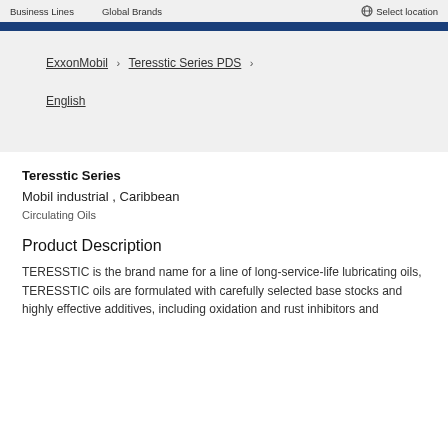Business Lines   Global Brands   Select location
ExxonMobil › Teresstic Series PDS ›
English
Teresstic Series
Mobil industrial , Caribbean
Circulating Oils
Product Description
TERESSTIC is the brand name for a line of long-service-life lubricating oils, TERESSTIC oils are formulated with carefully selected base stocks and highly effective additives, including oxidation and rust inhibitors and